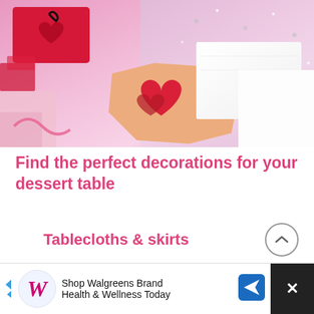[Figure (photo): Valentine's Day styled table scene with red sequined items, red heart-shaped decorations in a geometric white/peach origami box, and a pink sparkly fabric backdrop.]
Find the perfect decorations for your dessert table
Tablecloths & skirts
When you think of setting a table, you think of tablecloths. Keep in mind, if you're using p...
[Figure (screenshot): Advertisement banner: Shop Walgreens Brand Health & Wellness Today with Walgreens logo (W) and blue navigation arrow icon, with a dark close button on the right.]